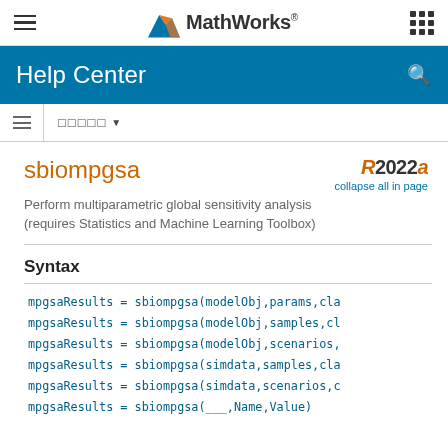MathWorks Help Center
sbiompgsa
Perform multiparametric global sensitivity analysis (requires Statistics and Machine Learning Toolbox)
R2022a
collapse all in page
Syntax
mpgsaResults = sbiompgsa(modelObj,params,cla
mpgsaResults = sbiompgsa(modelObj,samples,cl
mpgsaResults = sbiompgsa(modelObj,scenarios,
mpgsaResults = sbiompgsa(simdata,samples,cla
mpgsaResults = sbiompgsa(simdata,scenarios,c
mpgsaResults = sbiompgsa(___,Name,Value)